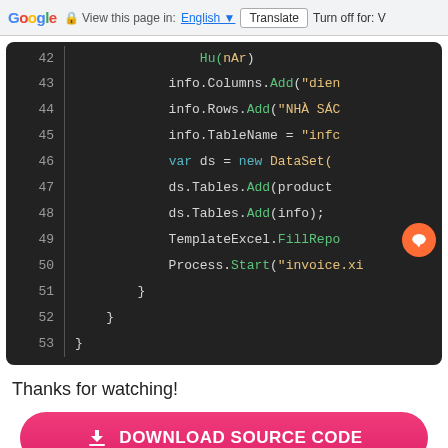Google  View this page in: English  Translate  Turn off for: V
[Figure (screenshot): Code editor screenshot showing lines 42-53 of code with syntax highlighting on dark background. Lines show: info.Columns.Add("dien", info.Rows.Add("NHA SA", info.TableName = "info", var ds = new DataSet(, ds.Tables.Add(product), ds.Tables.Add(info);, TemplateExcel.FillRepo..., Process.Start("invoice.x...", closing braces for blocks]
Thanks for watching!
DOWNLOAD SOURCE CODE